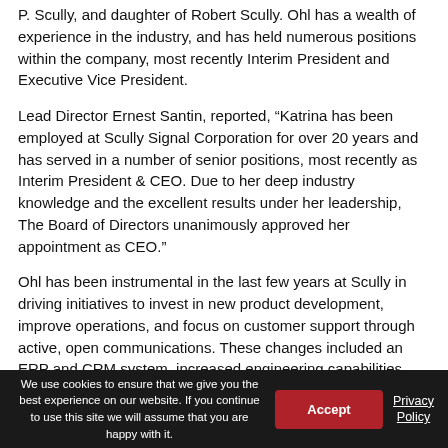P. Scully, and daughter of Robert Scully. Ohl has a wealth of experience in the industry, and has held numerous positions within the company, most recently Interim President and Executive Vice President.
Lead Director Ernest Santin, reported, “Katrina has been employed at Scully Signal Corporation for over 20 years and has served in a number of senior positions, most recently as Interim President & CEO. Due to her deep industry knowledge and the excellent results under her leadership, The Board of Directors unanimously approved her appointment as CEO.”
Ohl has been instrumental in the last few years at Scully in driving initiatives to invest in new product development, improve operations, and focus on customer support through active, open communications. These changes included an ERP and CRM system, increased engineering capabilities, new product launches, and implementing a new website and customer portal.
We use cookies to ensure that we give you the best experience on our website. If you continue to use this site we will assume that you are happy with it. [Accept] [Privacy Policy]